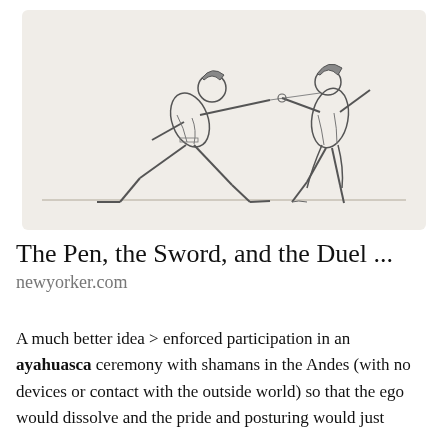[Figure (illustration): A historical engraving/sketch of two men fencing with swords. The man on the left lunges forward in a deep lunge position extending his sword arm toward the man on the right, who stands defensively with arm outstretched. Both men wear 18th-century clothing including breeches and coats. The background is light/cream colored.]
The Pen, the Sword, and the Duel ...
newyorker.com
A much better idea > enforced participation in an ayahuasca ceremony with shamans in the Andes (with no devices or contact with the outside world) so that the ego would dissolve and the pride and posturing would just